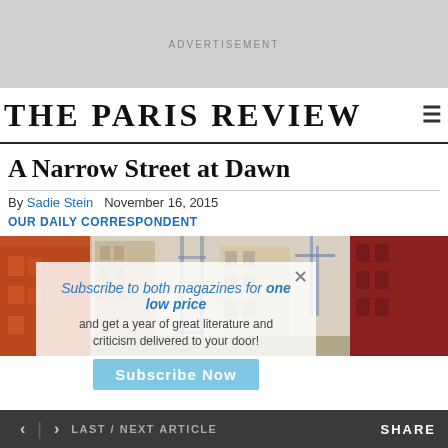ADVERTISEMENT
THE PARIS REVIEW
A Narrow Street at Dawn
By Sadie Stein   November 16, 2015
OUR DAILY CORRESPONDENT
[Figure (infographic): Subscription popup overlay with text: Subscribe to both magazines for one low price and get a year of great literature and criticism delivered to your door! Subscribe Now button]
[Figure (photo): Street-level urban photo at dawn showing narrow street with colorful buildings, scaffolding and warm tones on right side]
< | > LAST / NEXT ARTICLE   SHARE